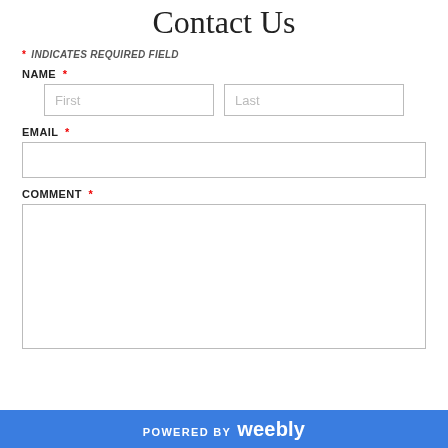Contact Us
* INDICATES REQUIRED FIELD
NAME *
First   Last
EMAIL *
COMMENT *
POWERED BY weebly